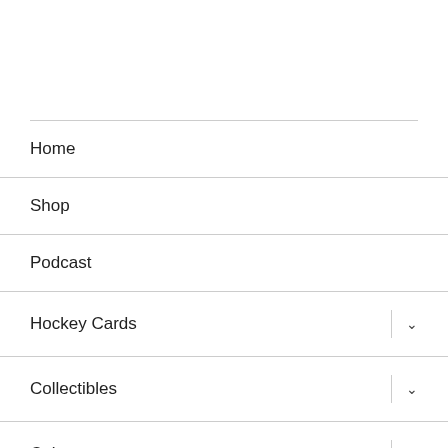Home
Shop
Podcast
Hockey Cards
Collectibles
Culture